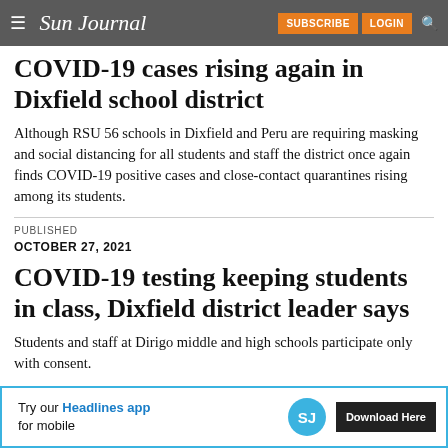Sun Journal | SUBSCRIBE | LOGIN
COVID-19 cases rising again in Dixfield school district
Although RSU 56 schools in Dixfield and Peru are requiring masking and social distancing for all students and staff the district once again finds COVID-19 positive cases and close-contact quarantines rising among its students.
PUBLISHED
OCTOBER 27, 2021
COVID-19 testing keeping students in class, Dixfield district leader says
Students and staff at Dirigo middle and high schools participate only with consent.
[Figure (infographic): Advertisement banner: Try our Headlines app for mobile. Download Here button with SJ logo circle.]